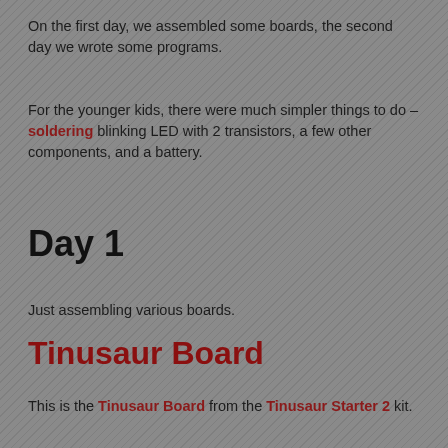On the first day, we assembled some boards, the second day we wrote some programs.
For the younger kids, there were much simpler things to do – soldering blinking LED with 2 transistors, a few other components, and a battery.
Day 1
Just assembling various boards.
Tinusaur Board
This is the Tinusaur Board from the Tinusaur Starter 2 kit.